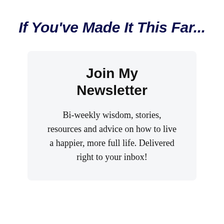If You've Made It This Far...
Join My Newsletter
Bi-weekly wisdom, stories, resources and advice on how to live a happier, more full life. Delivered right to your inbox!